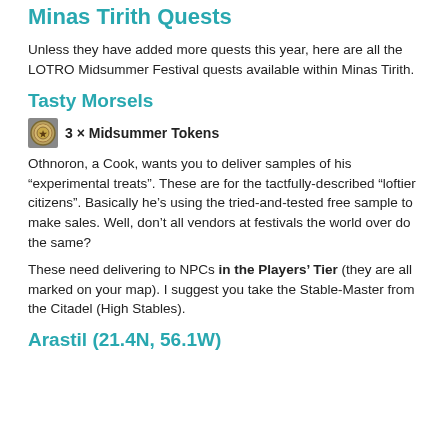Minas Tirith Quests
Unless they have added more quests this year, here are all the LOTRO Midsummer Festival quests available within Minas Tirith.
Tasty Morsels
[Figure (illustration): Midsummer Token icon - circular golden coin icon]
3 × Midsummer Tokens
Othnoron, a Cook, wants you to deliver samples of his “experimental treats”. These are for the tactfully-described “loftier citizens”. Basically he’s using the tried-and-tested free sample to make sales. Well, don’t all vendors at festivals the world over do the same?
These need delivering to NPCs in the Players’ Tier (they are all marked on your map). I suggest you take the Stable-Master from the Citadel (High Stables).
Arastil (21.4N, 56.1W)